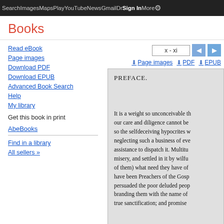Search  Images  Maps  Play  YouTube  News  Gmail  Dr  Sign In  More  ⚙
Books
Read eBook
Page images
Download PDF
Download EPUB
Advanced Book Search
Help
My library
Get this book in print
AbeBooks
Find in a library
All sellers »
x - xi
Page images  ⬇ PDF  ⬇ EPUB
[Figure (screenshot): Partial page preview of a book's PREFACE section showing text: 'It is a weight so unconceivable th... our care and diligence cannot be... so the selfdeceiving hypocrites w... neglecting such a business of eve... assistance to dispatch it. Multitu... misery, and settled in it by wilfu... of them) what need they have of... have been Preachers of the Gosp... persuaded the poor deluded peop... branding them with the name of... true sanctification; and promise']